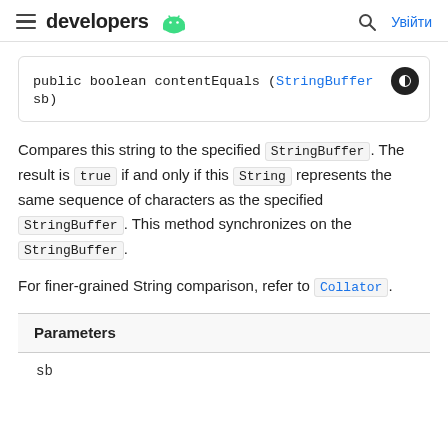developers [android icon] | [search icon] Увійти
Compares this string to the specified StringBuffer. The result is true if and only if this String represents the same sequence of characters as the specified StringBuffer. This method synchronizes on the StringBuffer.
For finer-grained String comparison, refer to Collator.
Parameters
sb